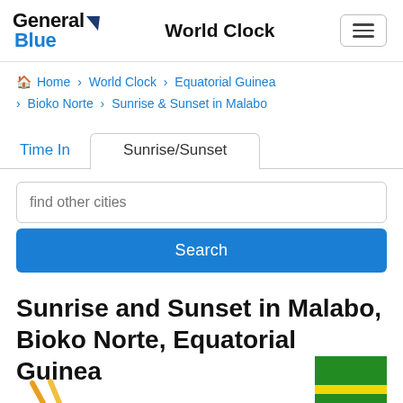General Blue — World Clock
Home › World Clock › Equatorial Guinea › Bioko Norte › Sunrise & Sunset in Malabo
Time In  Sunrise/Sunset
find other cities
Search
Sunrise and Sunset in Malabo, Bioko Norte, Equatorial Guinea